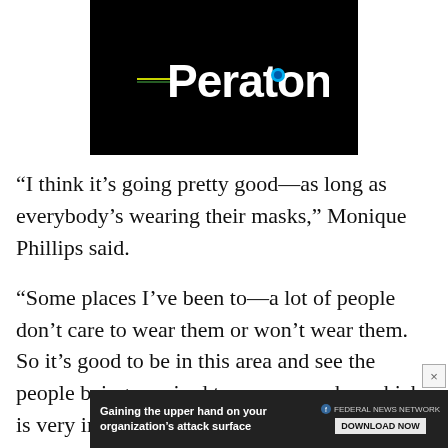[Figure (logo): Peraton company logo — white text on black background with a teal/blue dot in the letter 'o' and green/yellow accent lines through the letters]
“I think it’s going pretty good—as long as everybody’s wearing their masks,” Monique Phillips said.
“Some places I’ve been to—a lot of people don’t care to wear them or won’t wear them. So it’s good to be in this area and see the people being required to wear a mask—which is very impor[tant,” McKinley Phillips said.
[Figure (screenshot): Advertisement banner: 'Gaining the upper hand on your organization’s attack surface' with Federal News Network logo and DOWNLOAD NOW button]